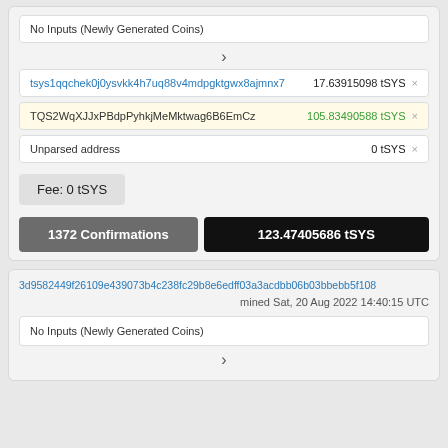No Inputs (Newly Generated Coins)
tsys1qqchek0j0ysvkk4h7uq88v4mdpgktgwx8ajmnx7   17.63915098 tSYS ×
TQS2WqXJJxPBdpPyhkjMeMktwag6B6EmCz   105.83490588 tSYS ×
Unparsed address   0 tSYS ×
Fee: 0 tSYS
1372 Confirmations
123.47405686 tSYS
3d9582449f26109e439073b4c238fc29b8e6edff03a3acdbb06b03bbebb5f108
mined Sat, 20 Aug 2022 14:40:15 UTC
No Inputs (Newly Generated Coins)